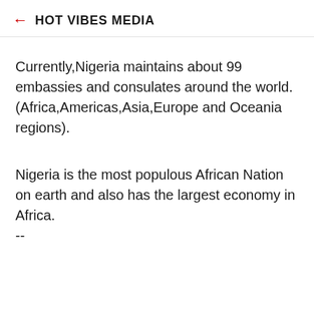← HOT VIBES MEDIA
Currently,Nigeria maintains about 99 embassies and consulates around the world.
(Africa,Americas,Asia,Europe and Oceania regions).
Nigeria is the most populous African Nation on earth and also has the largest economy in Africa.
--